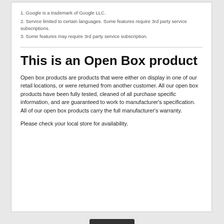1. Google is a trademark of Google LLC.
2. Service limited to certain languages. Some features require 3rd party service subscriptions.
3. Some features may require 3rd party service subscription.
This is an Open Box product
Open box products are products that were either on display in one of our retail locations, or were returned from another customer. All our open box products have been fully tested, cleaned of all purchase specific information, and are guaranteed to work to manufacturer's specification. All of our open box products carry the full manufacturer's warranty.
Please check your local store for availability.